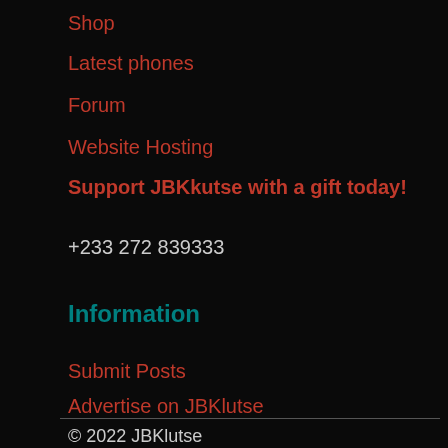Shop
Latest phones
Forum
Website Hosting
Support JBKkutse with a gift today!
+233 272 839333
Information
Submit Posts
Advertise on JBKlutse
© 2022 JBKlutse